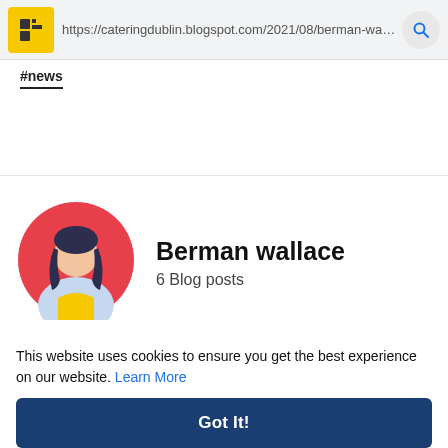https://cateringdublin.blogspot.com/2021/08/berman-wallace-catering-services.html
#news
[Figure (illustration): Circular avatar icon of a woman with dark hair, wearing a yellow vest, against a red circular background]
Berman wallace
6 Blog posts
This website uses cookies to ensure you get the best experience on our website. Learn More
Got It!